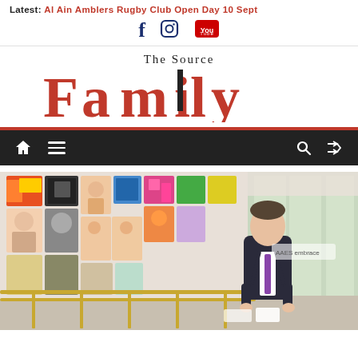Latest: Al Ain Amblers Rugby Club Open Day 10 Sept
The Source Family
[Figure (logo): The Source Family magazine logo with large red 'Family' text and black 'The Source' above it]
[Figure (photo): Man in dark suit standing in front of a wall of colorful student artwork/paintings at what appears to be a school art exhibition, with large windows visible on the right side]